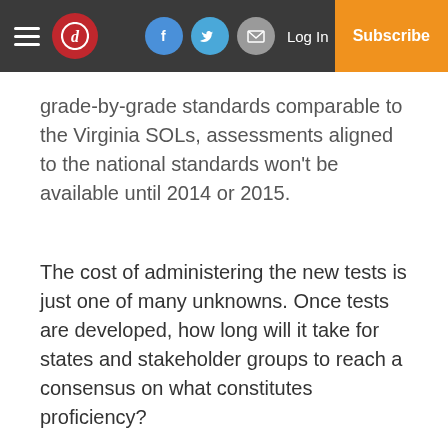Navigation bar with logo, social icons, Log In, and Subscribe button
grade-by-grade standards comparable to the Virginia SOLs, assessments aligned to the national standards won't be available until 2014 or 2015.
The cost of administering the new tests is just one of many unknowns. Once tests are developed, how long will it take for states and stakeholder groups to reach a consensus on what constitutes proficiency?